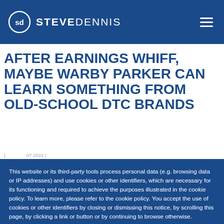STEVE DENNIS
AFTER EARNINGS WHIFF, MAYBE WARBY PARKER CAN LEARN SOMETHING FROM OLD-SCHOOL DTC BRANDS
This website or its third-party tools process personal data (e.g. browsing data or IP addresses) and use cookies or other identifiers, which are necessary for its functioning and required to achieve the purposes illustrated in the cookie policy. To learn more, please refer to the cookie policy. You accept the use of cookies or other identifiers by closing or dismissing this notice, by scrolling this page, by clicking a link or button or by continuing to browse otherwise.
Accept